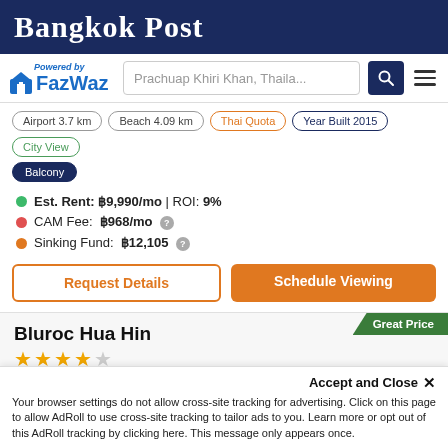Bangkok Post
[Figure (logo): FazWaz logo with 'Powered by' text, house icon, and FazWaz brand name in blue]
Prachuap Khiri Khan, Thaila...
Airport 3.7 km
Beach 4.09 km
Thai Quota
Year Built 2015
City View
Balcony
Est. Rent: ฿9,990/mo | ROI: 9%
CAM Fee: ฿968/mo
Sinking Fund: ฿12,105
Request Details
Schedule Viewing
Bluroc Hua Hin
฿1,039,500 (฿43,300/SqM)
Hua Hin City, Hua Hin, Prachuap Khiri Khan
Accept and Close ✕
Your browser settings do not allow cross-site tracking for advertising. Click on this page to allow AdRoll to use cross-site tracking to tailor ads to you. Learn more or opt out of this AdRoll tracking by clicking here. This message only appears once.